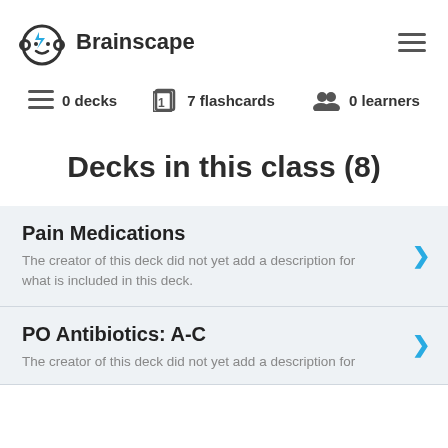[Figure (logo): Brainscape logo: circular icon with brain/face design and blue lightning bolt, next to bold text 'Brainscape']
0 decks   7 flashcards   0 learners
Decks in this class (8)
Pain Medications
The creator of this deck did not yet add a description for what is included in this deck.
PO Antibiotics: A-C
The creator of this deck did not yet add a description for